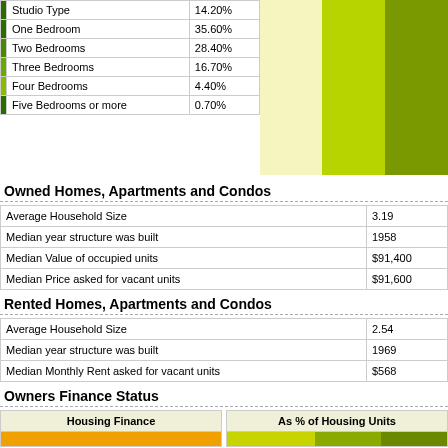|  | Bedroom Type | Percentage |
| --- | --- | --- |
|  | Studio Type | 14.20% |
|  | One Bedroom | 35.60% |
|  | Two Bedrooms | 28.40% |
|  | Three Bedrooms | 16.70% |
|  | Four Bedrooms | 4.40% |
|  | Five Bedrooms or more | 0.70% |
Owned Homes, Apartments and Condos
|  |  |
| --- | --- |
| Average Household Size | 3.19 |
| Median year structure was built | 1958 |
| Median Value of occupied units | $91,400 |
| Median Price asked for vacant units | $91,600 |
Rented Homes, Apartments and Condos
|  |  |
| --- | --- |
| Average Household Size | 2.54 |
| Median year structure was built | 1969 |
| Median Monthly Rent asked for vacant units | $568 |
Owners Finance Status
| Housing Finance | As % of Housing Units |
| --- | --- |